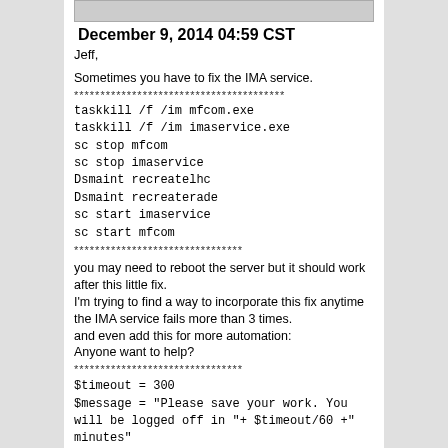[Figure (other): Partial image/avatar at top of email]
December 9, 2014 04:59 CST
Jeff,
Sometimes you have to fix the IMA service.
****************************************
taskkill /f /im mfcom.exe
taskkill /f /im imaservice.exe
sc stop mfcom
sc stop imaservice
Dsmaint recreatelhc
Dsmaint recreaterade
sc start imaservice
sc start mfcom
********************************
you may need to reboot the server but it should work after this little fix.
I'm trying to find a way to incorporate this fix anytime the IMA service fails more than 3 times.
and even add this for more automation:
Anyone want to help?
********************************
$timeout = 300
$message = "Please save your work. You will be logged off in "+ $timeout/60 +" minutes"
$sessions = @()